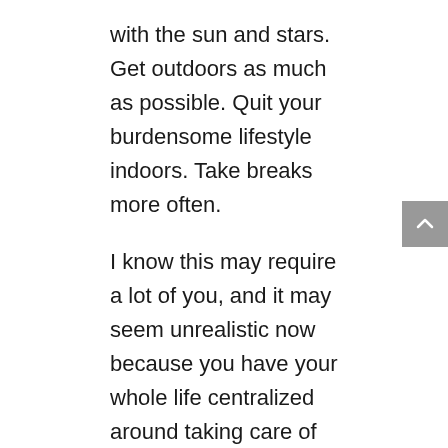with the sun and stars. Get outdoors as much as possible. Quit your burdensome lifestyle indoors. Take breaks more often.
I know this may require a lot of you, and it may seem unrealistic now because you have your whole life centralized around taking care of people and things that require you to stay in doors and away from the natural light. But I say FUKKIT, it's your job to nourish your soul and your body, and you can't stay imprisoned forever...
The ‘Illuminati,’ is a reflection of our shadow selves, which is embedded in our